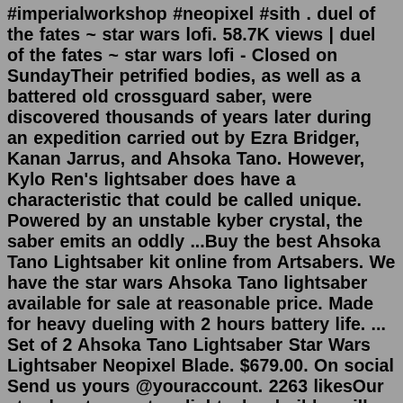#imperialworkshop #neopixel #sith . duel of the fates ~ star wars lofi. 58.7K views | duel of the fates ~ star wars lofi - Closed on SundayTheir petrified bodies, as well as a battered old crossguard saber, were discovered thousands of years later during an expedition carried out by Ezra Bridger, Kanan Jarrus, and Ahsoka Tano. However, Kylo Ren's lightsaber does have a characteristic that could be called unique. Powered by an unstable kyber crystal, the saber emits an oddly ...Buy the best Ahsoka Tano Lightsaber kit online from Artsabers. We have the star wars Ahsoka Tano lightsaber available for sale at reasonable price. Made for heavy dueling with 2 hours battery life. ... Set of 2 Ahsoka Tano Lightsaber Star Wars Lightsaber Neopixel Blade. $679.00. On social Send us yours @youraccount. 2263 likesOur step-by-step custom lightsaber builder will walk you through everything from choosing the color of your blade to sounds, aesthetic features, and more! Every Ultrasaber in the arsenal is machined from aircraft grade aluminum, and comes equipped with durable